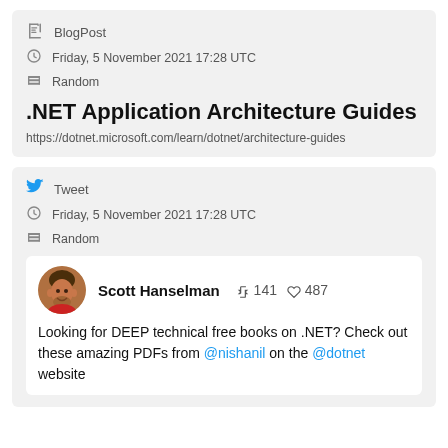BlogPost
Friday, 5 November 2021 17:28 UTC
Random
.NET Application Architecture Guides
https://dotnet.microsoft.com/learn/dotnet/architecture-guides
Tweet
Friday, 5 November 2021 17:28 UTC
Random
Scott Hanselman  141  487
Looking for DEEP technical free books on .NET? Check out these amazing PDFs from @nishanil on the @dotnet website